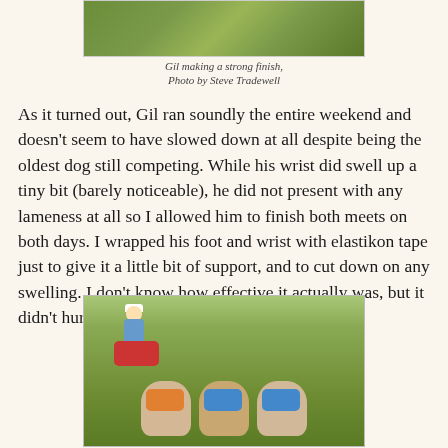[Figure (photo): Top portion of a photo showing a dog racing on green grass, making a strong finish]
Gil making a strong finish,
Photo by Steve Tradewell
As it turned out, Gil ran soundly the entire weekend and doesn't seem to have slowed down at all despite being the oldest dog still competing. While his wrist did swell up a tiny bit (barely noticeable), he did not present with any lameness at all so I allowed him to finish both meets on both days. I wrapped his foot and wrist with elastikon tape just to give it a little bit of support, and to cut down on any swelling. I don't know how effective it actually was, but it didn't hurt.
[Figure (photo): Photo of three dogs in racing jackets competing on a grass field, with a rider on an ATV in the background]